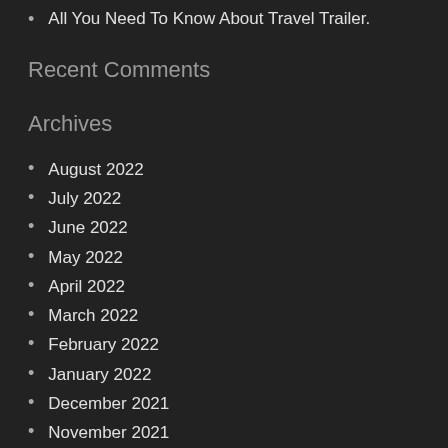All You Need To Know About Travel Trailer.
Recent Comments
Archives
August 2022
July 2022
June 2022
May 2022
April 2022
March 2022
February 2022
January 2022
December 2021
November 2021
October 2021
September 2021